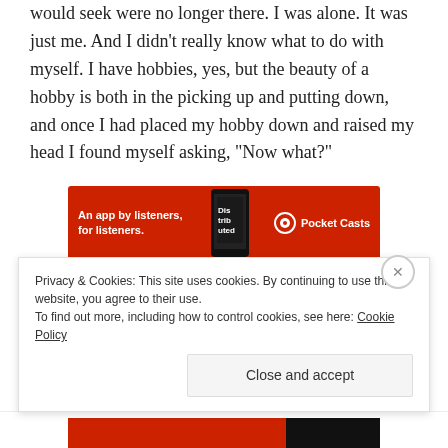make, ideas I would express, and places of comfort I would seek were no longer there. I was alone. It was just me. And I didn't really know what to do with myself. I have hobbies, yes, but the beauty of a hobby is both in the picking up and putting down, and once I had placed my hobby down and raised my head I found myself asking, “Now what?”
[Figure (other): Pocket Casts advertisement banner: red background with text 'An app by listeners, for listeners.' and Pocket Casts logo with phone graphic]
The first week was spent in justified idleness. I was sad
Privacy & Cookies: This site uses cookies. By continuing to use this website, you agree to their use.
To find out more, including how to control cookies, see here: Cookie Policy
Close and accept